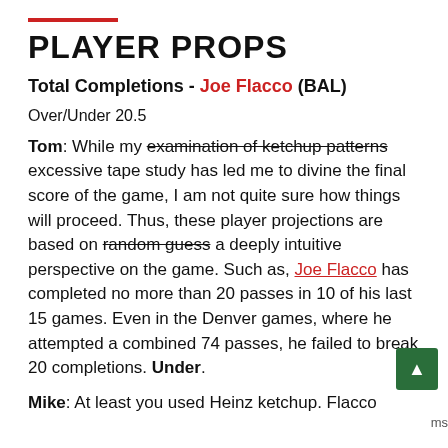PLAYER PROPS
Total Completions - Joe Flacco (BAL)
Over/Under 20.5
Tom: While my examination of ketchup patterns excessive tape study has led me to divine the final score of the game, I am not quite sure how things will proceed. Thus, these player projections are based on random guess a deeply intuitive perspective on the game. Such as, Joe Flacco has completed no more than 20 passes in 10 of his last 15 games. Even in the Denver games, where he attempted a combined 74 passes, he failed to break 20 completions. Under.
Mike: At least you used Heinz ketchup. Flacco